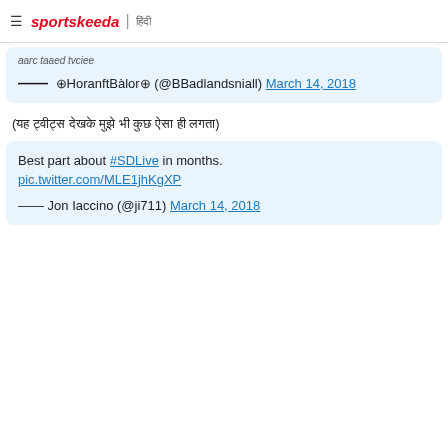sportskeeda | हिंदी
— ⊕HoranftBàlor⊕ (@BBadlandsniall) March 14, 2018
(यह ट्वीट्स देखके मुझे भी कुछ ऐसा ही लगता)
Best part about #SDLive in months. pic.twitter.com/MLE1jhKgXP — Jon Iaccino (@ji711) March 14, 2018